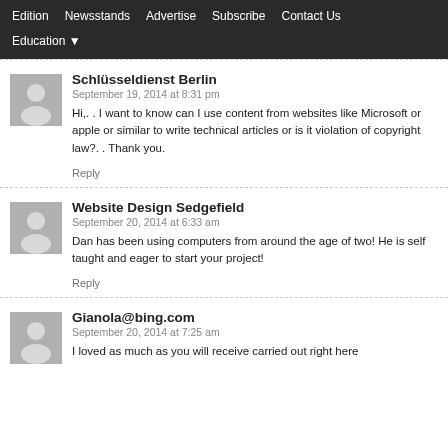Edition  Newsstands  Advertise  Subscribe  Contact Us  Education
Schlüsseldienst Berlin
September 19, 2014 at 8:31 pm
Hi,. . I want to know can I use content from websites like Microsoft or apple or similar to write technical articles or is it violation of copyright law?. . Thank you.
Reply
Website Design Sedgefield
September 20, 2014 at 6:33 am
Dan has been using computers from around the age of two! He is self taught and eager to start your project!
Reply
Gianola@bing.com
September 20, 2014 at 7:25 am
I loved as much as you will receive carried out right here